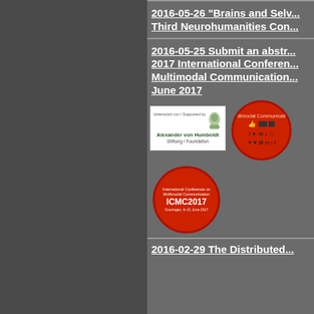2016-05-26 "Brains and Selves" Third Neurohumanities Con...
2016-05-25 Submit an abstr... 2017 International Conferen... Multimodal Communication... June 2017
[Figure (logo): Alexander von Humboldt Stiftung/Foundation logo - white background with green bust illustration and green text]
[Figure (logo): Red circle with Multimodal Communication social media icons and symbols]
[Figure (logo): Red circle ICMC2017 logo with text 'Groningene, 9-21 June 2017']
2016-02-29 The Distributed...